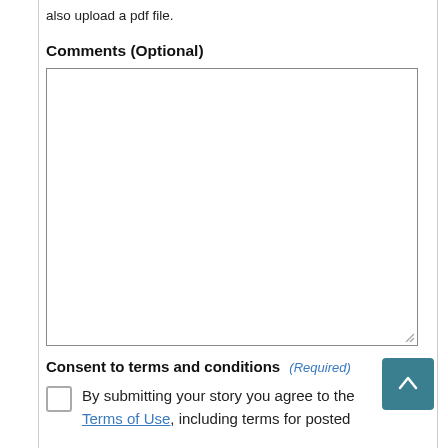also upload a pdf file.
Comments (Optional)
[Figure (other): Empty textarea input box for comments]
Consent to terms and conditions (Required)
By submitting your story you agree to the Terms of Use, including terms for posted